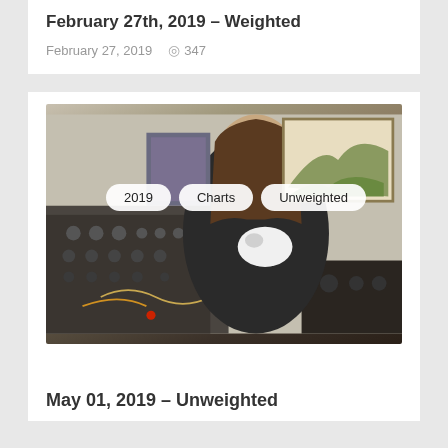February 27th, 2019 – Weighted
February 27, 2019   347
[Figure (photo): A person holding a small cat, sitting in front of modular synthesizer equipment with posters and a painting on the wall behind them. Tags overlay the image: 2019, Charts, Unweighted.]
May 01, 2019 – Unweighted